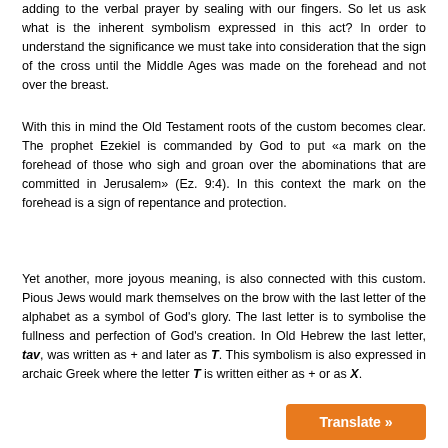adding to the verbal prayer by sealing with our fingers. So let us ask what is the inherent symbolism expressed in this act? In order to understand the significance we must take into consideration that the sign of the cross until the Middle Ages was made on the forehead and not over the breast.
With this in mind the Old Testament roots of the custom becomes clear. The prophet Ezekiel is commanded by God to put «a mark on the forehead of those who sigh and groan over the abominations that are committed in Jerusalem» (Ez. 9:4). In this context the mark on the forehead is a sign of repentance and protection.
Yet another, more joyous meaning, is also connected with this custom. Pious Jews would mark themselves on the brow with the last letter of the alphabet as a symbol of God's glory. The last letter is to symbolise the fullness and perfection of God's creation. In Old Hebrew the last letter, tav, was written as + and later as T. This symbolism is also expressed in archaic Greek where the letter T is written either as + or as X.